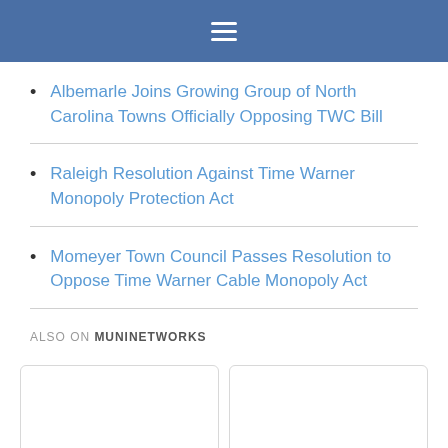≡ (hamburger menu)
Albemarle Joins Growing Group of North Carolina Towns Officially Opposing TWC Bill
Raleigh Resolution Against Time Warner Monopoly Protection Act
Momeyer Town Council Passes Resolution to Oppose Time Warner Cable Monopoly Act
ALSO ON MUNINETWORKS
[Figure (screenshot): Two card-style UI elements with left and right navigation arrows, part of a content carousel on the MuniNetworks website]